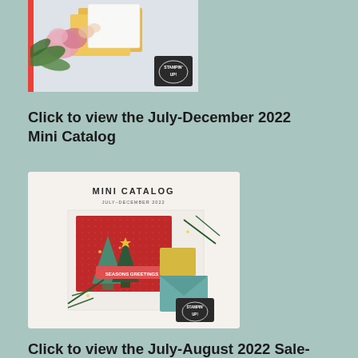[Figure (photo): Partial top portion of a Stampin Up catalog cover showing floral arrangements with yellow, pink flowers and greenery against a light grey background, with a red left border and Stampin Up logo badge]
Click to view the July-December 2022 Mini Catalog
[Figure (photo): Mini Catalog July-December 2022 cover image showing Christmas tree card decorations with red background, pine branches, gold star accents, Seasons Greetings banner, on a cream/beige background with Stampin Up logo badge. Text at top reads MINI CATALOG JULY-DECEMBER 2022]
Click to view the July-August 2022 Sale-A-